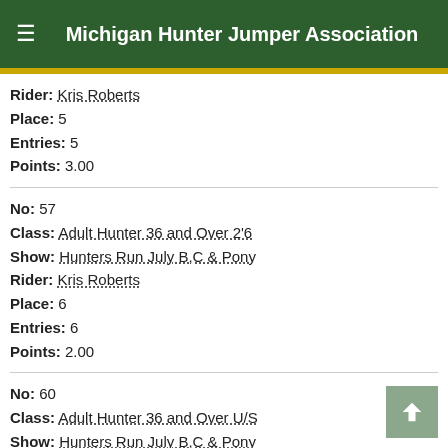Michigan Hunter Jumper Association
Rider: Kris Roberts
Place: 5
Entries: 5
Points: 3.00
No: 57
Class: Adult Hunter 36 and Over 2'6
Show: Hunters Run July B,C & Pony
Rider: Kris Roberts
Place: 6
Entries: 6
Points: 2.00
No: 60
Class: Adult Hunter 36 and Over U/S
Show: Hunters Run July B,C & Pony
Rider: Kris Roberts
Place: 1
Entries: 6
Points: 15.00